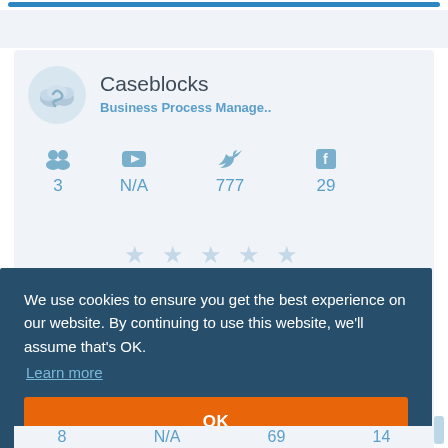[Figure (screenshot): Caseblocks company profile page showing logo, company name, category 'Business Process Manage..', social stats (3, N/A, 777, 29), and star ratings]
Caseblocks
Business Process Manage..
3
N/A
777
29
We use cookies to ensure you get the best experience on our website. By continuing to use this website, we'll assume that's OK.
Learn more
OK
8
N/A
69
14